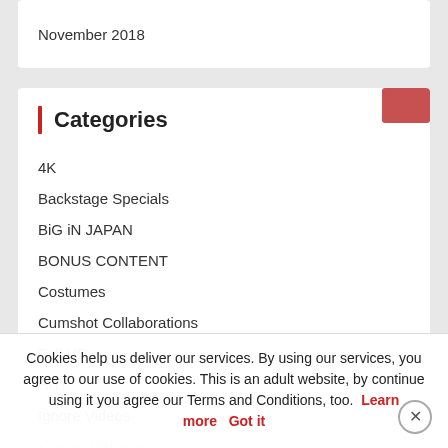November 2018
Categories
4K
Backstage Specials
BiG iN JAPAN
BONUS CONTENT
Costumes
Cumshot Collaborations
Full HD
HiT!
Ignore Videos
King of Mallorca
Jason's Angels
Leon
Cookies help us deliver our services. By using our services, you agree to our use of cookies. This is an adult website, by continue using it you agree our Terms and Conditions, too. Learn more  Got it